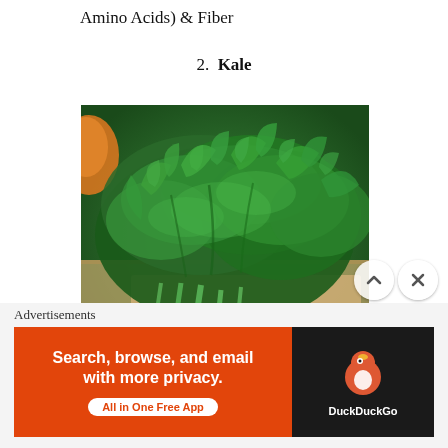Amino Acids) & Fiber
2.  Kale
[Figure (photo): Photo of fresh green kale leaves on a wooden cutting board, with an orange object partially visible on the left side. The kale is vibrant and curly.]
Advertisements
[Figure (screenshot): DuckDuckGo advertisement banner: orange left side with text 'Search, browse, and email with more privacy. All in One Free App' and dark right side with DuckDuckGo logo]